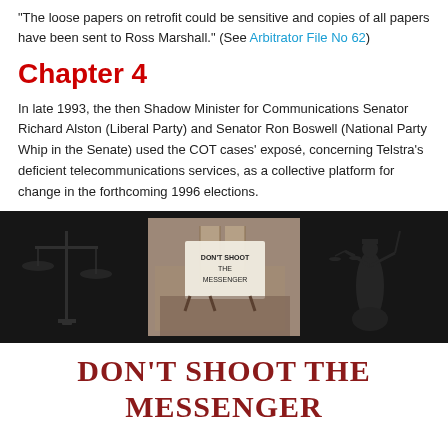“The loose papers on retrofit could be sensitive and copies of all papers have been sent to Ross Marshall.” (See Arbitrator File No 62)
Chapter 4
In late 1993, the then Shadow Minister for Communications Senator Richard Alston (Liberal Party) and Senator Ron Boswell (National Party Whip in the Senate) used the COT cases’ exposé, concerning Telstra’s deficient telecommunications services, as a collective platform for change in the forthcoming 1996 elections.
[Figure (photo): A dark banner photo showing three panels: left panel with scales of justice silhouette on dark background, center panel with protesters holding signs reading 'Don't Shoot the Messenger', right panel with Lady Justice statue silhouette on dark background.]
Don’t Shoot the Messenger